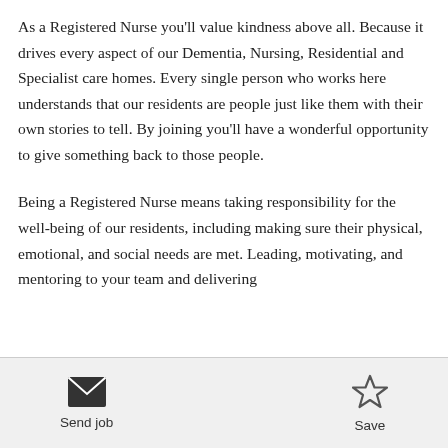As a Registered Nurse you'll value kindness above all. Because it drives every aspect of our Dementia, Nursing, Residential and Specialist care homes. Every single person who works here understands that our residents are people just like them with their own stories to tell. By joining you'll have a wonderful opportunity to give something back to those people.
Being a Registered Nurse means taking responsibility for the well-being of our residents, including making sure their physical, emotional, and social needs are met. Leading, motivating, and mentoring to your team and delivering
Send job   Save